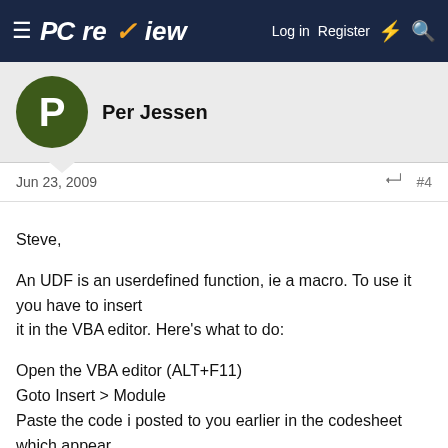PC review — Log in  Register
Per Jessen
Jun 23, 2009  #4
Steve,

An UDF is an userdefined function, ie a macro. To use it you have to insert it in the VBA editor. Here's what to do:

Open the VBA editor (ALT+F11)
Goto Insert > Module
Paste the code i posted to you earlier in the codesheet which appear
Close the VBA editor.

Now you are ready to use the UDF. To call the function select the desired